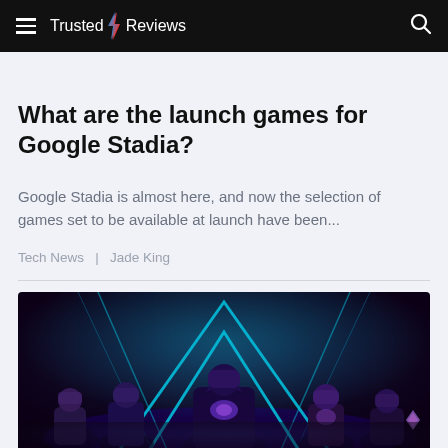Trusted Reviews
What are the launch games for Google Stadia?
Google Stadia is almost here, and now the selection of games set to be available at launch have been...
Tech News  |  Jade King
[Figure (photo): Group of armored video game characters posed dramatically in front of neon blue and purple lighting, dark sci-fi themed promotional image]